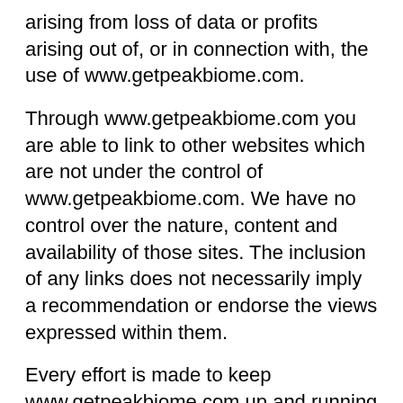arising from loss of data or profits arising out of, or in connection with, the use of www.getpeakbiome.com.
Through www.getpeakbiome.com you are able to link to other websites which are not under the control of www.getpeakbiome.com. We have no control over the nature, content and availability of those sites. The inclusion of any links does not necessarily imply a recommendation or endorse the views expressed within them.
Every effort is made to keep www.getpeakbiome.com up and running smoothly. However,www.getpeakbiome.com takes no responsibility for, and will not be liable for, www.getpeakbiome.com being temporarily unavailable due to technical issues beyond our control.
Testimonials Disclosure